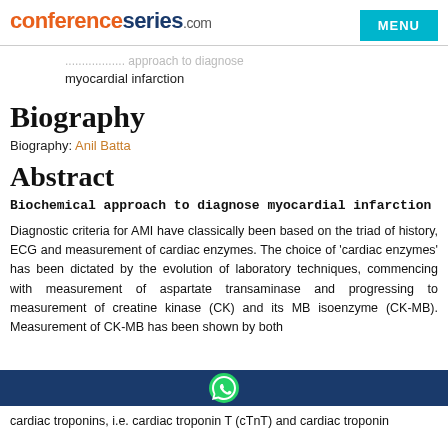conferenceseries.com
Biochemical approach to diagnose myocardial infarction
Biography
Biography: Anil Batta
Abstract
Biochemical approach to diagnose myocardial infarction
Diagnostic criteria for AMI have classically been based on the triad of history, ECG and measurement of cardiac enzymes. The choice of 'cardiac enzymes' has been dictated by the evolution of laboratory techniques, commencing with measurement of aspartate transaminase and progressing to measurement of creatine kinase (CK) and its MB isoenzyme (CK-MB). Measurement of CK-MB has been shown by both
cardiac troponins, i.e. cardiac troponin T (cTnT) and cardiac troponin